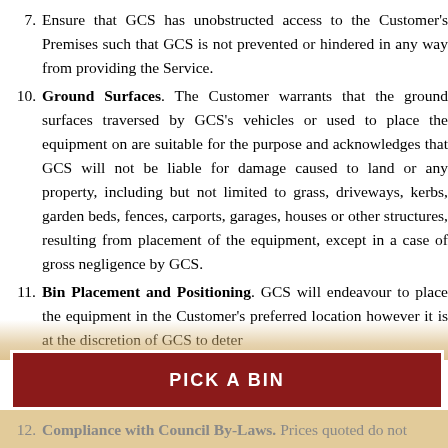7. Ensure that GCS has unobstructed access to the Customer's Premises such that GCS is not prevented or hindered in any way from providing the Service.
10. Ground Surfaces. The Customer warrants that the ground surfaces traversed by GCS's vehicles or used to place the equipment on are suitable for the purpose and acknowledges that GCS will not be liable for damage caused to land or any property, including but not limited to grass, driveways, kerbs, garden beds, fences, carports, garages, houses or other structures, resulting from placement of the equipment, except in a case of gross negligence by GCS.
11. Bin Placement and Positioning. GCS will endeavour to place the equipment in the Customer's preferred location however it is at the discretion of GCS to deter...
12. Compliance with Council By-Laws. Prices quoted do not...
[Figure (other): PICK A BIN button - a dark red/maroon call-to-action button with white border and white bold text reading PICK A BIN]